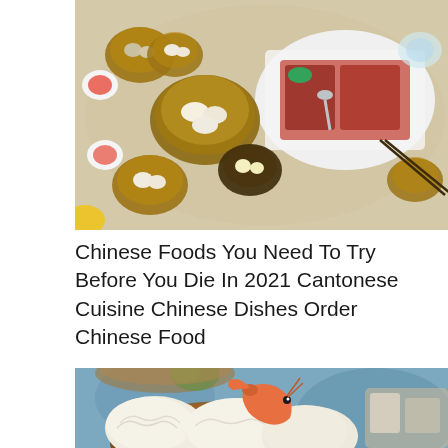[Figure (photo): Overhead view of a dim sum table spread with multiple bamboo steamers containing dumplings and buns, small plates with sauces, and a large plate with BBQ meats and vegetables.]
Chinese Foods You Need To Try Before You Die In 2021 Cantonese Cuisine Chinese Dishes Order Chinese Food
[Figure (photo): Close-up photo of har gow (shrimp dumplings) in a bamboo steamer basket, with a prawn visible on top of the translucent dumplings.]